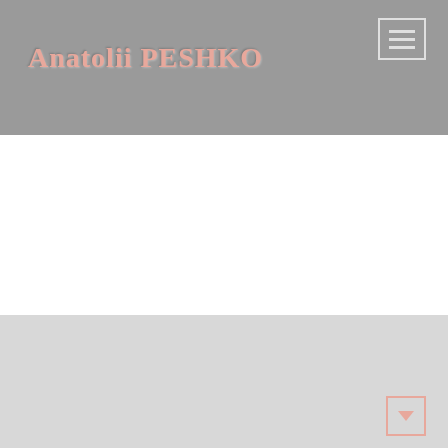Anatolii PESHKO
Запрещено размещать информацию, фото, видео и прочие ресурсы данного сайта на других сайтах без явного разрешения владельца. Все права на размещенную информацию принадлежат Анатолию Владимировичу Пешко.